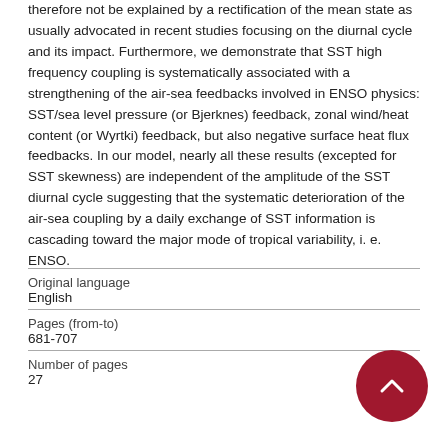therefore not be explained by a rectification of the mean state as usually advocated in recent studies focusing on the diurnal cycle and its impact. Furthermore, we demonstrate that SST high frequency coupling is systematically associated with a strengthening of the air-sea feedbacks involved in ENSO physics: SST/sea level pressure (or Bjerknes) feedback, zonal wind/heat content (or Wyrtki) feedback, but also negative surface heat flux feedbacks. In our model, nearly all these results (excepted for SST skewness) are independent of the amplitude of the SST diurnal cycle suggesting that the systematic deterioration of the air-sea coupling by a daily exchange of SST information is cascading toward the major mode of tropical variability, i. e. ENSO.
| Field | Value |
| --- | --- |
| Original language | English |
| Pages (from-to) | 681-707 |
| Number of pages | 27 |